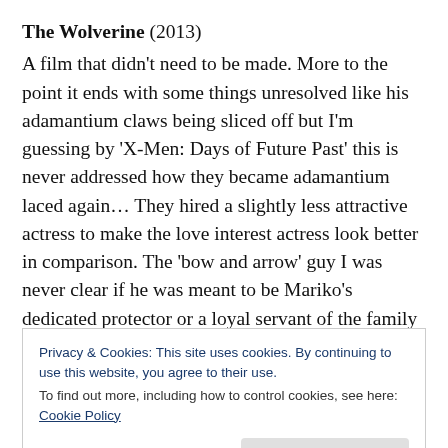The Wolverine (2013) A film that didn't need to be made. More to the point it ends with some things unresolved like his adamantium claws being sliced off but I'm guessing by 'X-Men: Days of Future Past' this is never addressed how they became adamantium laced again... They hired a slightly less attractive actress to make the love interest actress look better in comparison. The 'bow and arrow' guy I was never clear if he was meant to be Mariko's dedicated protector or a loyal servant of the family and thus more of an anti-hero. He was eye candy for the ladies...
Privacy & Cookies: This site uses cookies. By continuing to use this website, you agree to their use.
To find out more, including how to control cookies, see here: Cookie Policy
of their characters and it shows. I will never